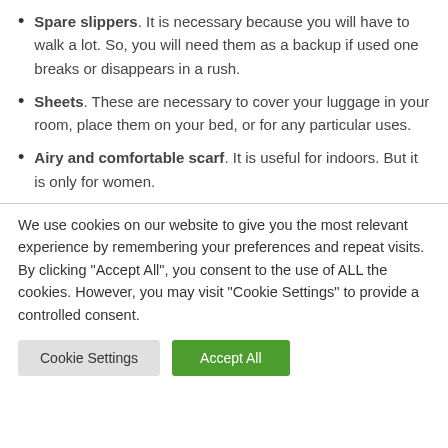Spare slippers. It is necessary because you will have to walk a lot. So, you will need them as a backup if used one breaks or disappears in a rush.
Sheets. These are necessary to cover your luggage in your room, place them on your bed, or for any particular uses.
Airy and comfortable scarf. It is useful for indoors. But it is only for women.
We use cookies on our website to give you the most relevant experience by remembering your preferences and repeat visits. By clicking “Accept All”, you consent to the use of ALL the cookies. However, you may visit "Cookie Settings" to provide a controlled consent.